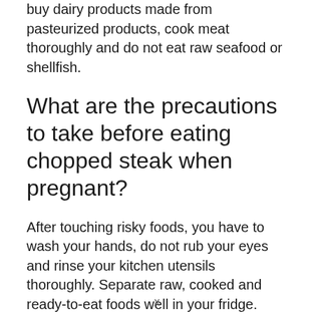buy dairy products made from pasteurized products, cook meat thoroughly and do not eat raw seafood or shellfish.
What are the precautions to take before eating chopped steak when pregnant?
After touching risky foods, you have to wash your hands, do not rub your eyes and rinse your kitchen utensils thoroughly. Separate raw, cooked and ready-to-eat foods well in your fridge. Leftover dishes will need to be warmed up thoroughly.
The only main instruction will be to heat the meat thoroughly before eating it, do not eat
x